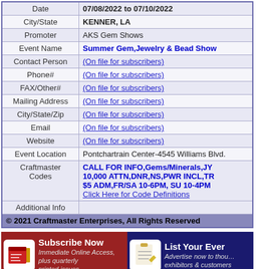| Field | Value |
| --- | --- |
| Date | 07/08/2022 to 07/10/2022 |
| City/State | KENNER, LA |
| Promoter | AKS Gem Shows |
| Event Name | Summer Gem,Jewelry & Bead Show |
| Contact Person | (On file for subscribers) |
| Phone# | (On file for subscribers) |
| FAX/Other# | (On file for subscribers) |
| Mailing Address | (On file for subscribers) |
| City/State/Zip | (On file for subscribers) |
| Email | (On file for subscribers) |
| Website | (On file for subscribers) |
| Event Location | Pontchartrain Center-4545 Williams Blvd. |
| Craftmaster Codes | CALL FOR INFO,Gems/Minerals,JY 10,000 ATTN,DNR,NS,PWR INCL,TR $5 ADM,FR/SA 10-6PM, SU 10-4PM Click Here for Code Definitions |
| Additional Info |  |
| © 2021 Craftmaster Enterprises, All Rights Reserved |  |
[Figure (infographic): Subscribe Now banner with newspaper icon - red background. Text: Subscribe Now, Immediate Online Access, plus quarterly printed issues]
[Figure (infographic): List Your Event banner with clipboard icon - dark blue background. Text: List Your Event (partially visible), Advertise now to thousands of exhibitors & customers (partially visible)]
Home   List Your Event   Subscribe Now   Advertising   About Us   Terms Of Use   Privacy Policy   Contact Us   © Copyright 2021, Craftmaster Enterprises, All Rights Reserved